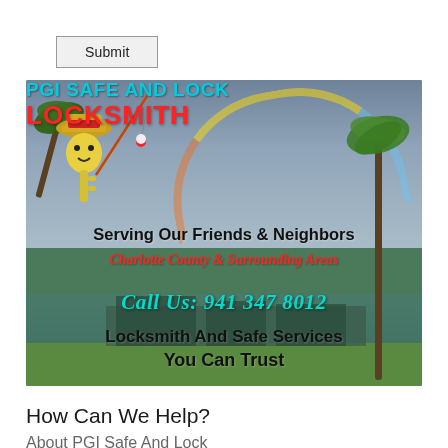Submit
[Figure (photo): PGI Safe And Lock Locksmith advertisement banner with mascot character, rainbow background, waterfront scene. Text: PGI SAFE AND LOCK LOCKSMITH, Serving Our Friends & Neighbors, Charlotte County & Surrounding Areas, Call Us: 941 347 8012, Locksmith And Safe Services You Can Trust]
How Can We Help?
About PGI Safe And Lock